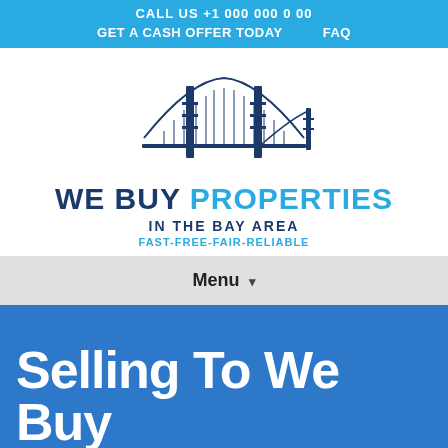CALL US   FAQ   GET A CASH OFFER TODAY   FAQ
[Figure (logo): Golden Gate Bridge illustration logo for We Buy Properties In The Bay Area]
WE BUY PROPERTIES IN THE BAY AREA FAST-FREE-FAIR-RELIABLE
Menu ▾
Selling To We Buy